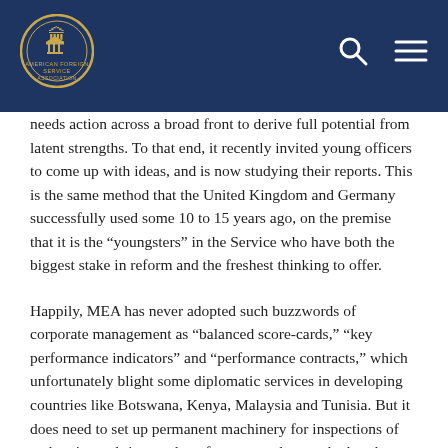American Foreign Service Association logo, search and menu icons
needs action across a broad front to derive full potential from latent strengths. To that end, it recently invited young officers to come up with ideas, and is now studying their reports. This is the same method that the United Kingdom and Germany successfully used some 10 to 15 years ago, on the premise that it is the “youngsters” in the Service who have both the biggest stake in reform and the freshest thinking to offer.
Happily, MEA has never adopted such buzzwords of corporate management as “balanced score-cards,” “key performance indicators” and “performance contracts,” which unfortunately blight some diplomatic services in developing countries like Botswana, Kenya, Malaysia and Tunisia. But it does need to set up permanent machinery for inspections of embassies and rigorously enforce procedures, whether they